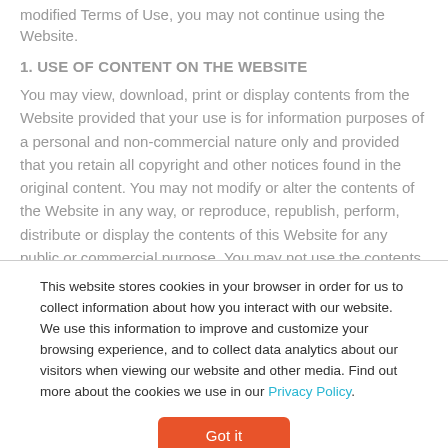modified Terms of Use, you may not continue using the Website.
1. USE OF CONTENT ON THE WEBSITE
You may view, download, print or display contents from the Website provided that your use is for information purposes of a personal and non-commercial nature only and provided that you retain all copyright and other notices found in the original content. You may not modify or alter the contents of the Website in any way, or reproduce, republish, perform, distribute or display the contents of this Website for any public or commercial purpose. You may not use the contents of the Website to prepare any derivative work. You may not frame, enclose or extract any
This website stores cookies in your browser in order for us to collect information about how you interact with our website. We use this information to improve and customize your browsing experience, and to collect data analytics about our visitors when viewing our website and other media. Find out more about the cookies we use in our Privacy Policy.
Got it